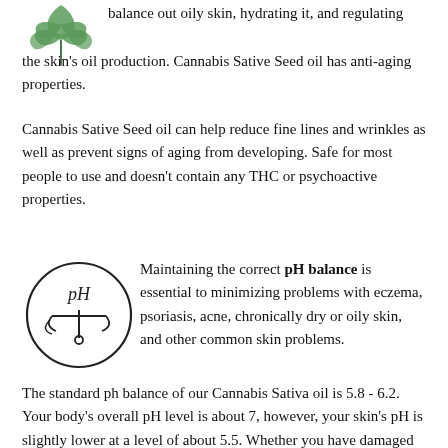[Figure (illustration): Cannabis leaf icon, green, top-left corner]
balance out oily skin, hydrating it, and regulating the skin's oil production. Cannabis Sative Seed oil has anti-aging properties.
Cannabis Sative Seed oil can help reduce fine lines and wrinkles as well as prevent signs of aging from developing. Safe for most people to use and doesn't contain any THC or psychoactive properties.
[Figure (illustration): pH balance icon: a circle with pH text and a scale/balance symbol inside]
Maintaining the correct pH balance is essential to minimizing problems with eczema, psoriasis, acne, chronically dry or oily skin, and other common skin problems.
The standard ph balance of our Cannabis Sativa oil is 5.8 - 6.2. Your body's overall pH level is about 7, however, your skin's pH is slightly lower at a level of about 5.5. Whether you have damaged skin, excessively dry skin, oily skin, or just want a healthier complexion, our oil can help balance the ph of your skin...